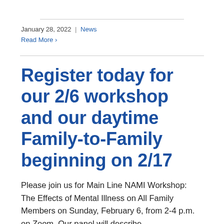January 28, 2022 | News
Read More >
Register today for our 2/6 workshop and our daytime Family-to-Family beginning on 2/17
Please join us for Main Line NAMI Workshop: The Effects of Mental Illness on All Family Members on Sunday, February 6, from 2-4 p.m. on Zoom. Our panel will describe